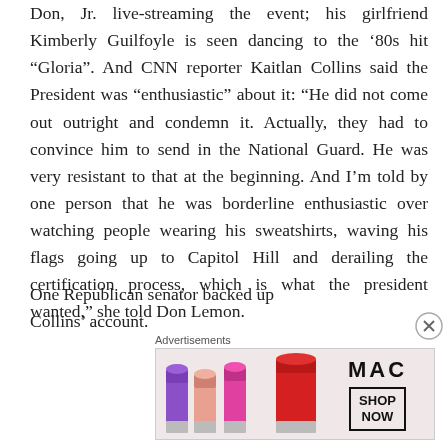Don, Jr. live-streaming the event; his girlfriend Kimberly Guilfoyle is seen dancing to the ‘80s hit “Gloria”. And CNN reporter Kaitlan Collins said the President was “enthusiastic” about it: “He did not come out outright and condemn it. Actually, they had to convince him to send in the National Guard. He was very resistant to that at the beginning. And I’m told by one person that he was borderline enthusiastic over watching people wearing his sweatshirts, waving his flags going up to Capitol Hill and derailing the certification process, which is what the president wanted,” she told Don Lemon.
One Republican senator backed up Collins’ account.
Advertisements
[Figure (other): MAC Cosmetics advertisement banner showing colorful lipsticks on the left side, MAC logo in the middle, and a SHOP NOW button on the right.]